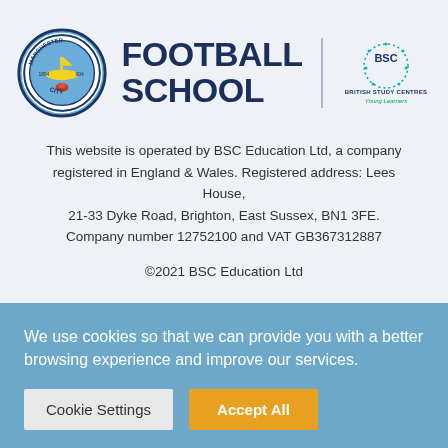[Figure (logo): Manchester City Football Club badge and FOOTBALL SCHOOL text logo alongside BSC British Study Centres Young Learners logo]
This website is operated by BSC Education Ltd, a company registered in England & Wales. Registered address: Lees House, 21-33 Dyke Road, Brighton, East Sussex, BN1 3FE. Company number 12752100 and VAT GB367312887
©2021 BSC Education Ltd
We use cookies so that we can provide you with a better browsing experience and improve our services.